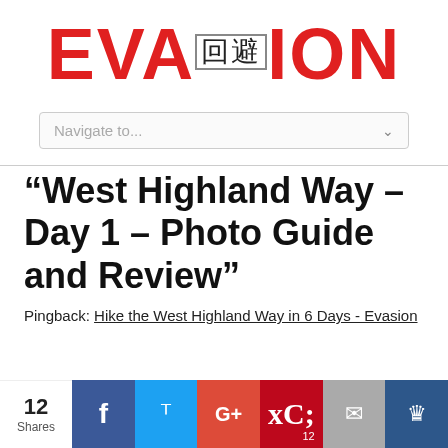EVASION (with kanji 回避)
[Figure (screenshot): Navigation dropdown bar with text 'Navigate to...' and a chevron]
“West Highland Way – Day 1 – Photo Guide and Review”
Pingback: Hike the West Highland Way in 6 Days - Evasion
[Figure (infographic): Social share bar with 12 Shares, Facebook, Twitter, Google+, Pinterest (12), Email, and crown/bookmark buttons]